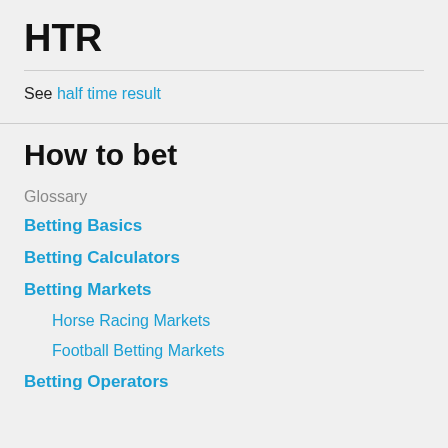HTR
See half time result
How to bet
Glossary
Betting Basics
Betting Calculators
Betting Markets
Horse Racing Markets
Football Betting Markets
Betting Operators